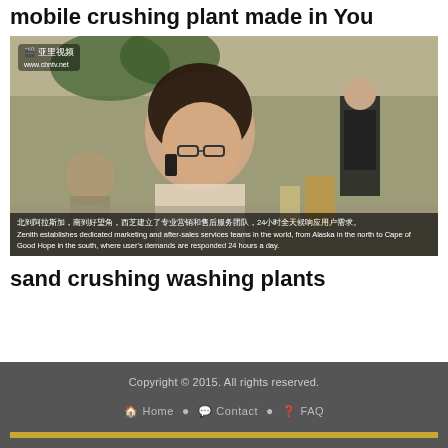mobile crushing plant made in You
[Figure (photo): Office scene showing a woman talking on phone with glasses, with other office workers in the background. Has Chinese watermark logo in top left. Bottom caption overlay in Chinese and English: 'Zenith establishes dedicated marketing and after-sales services teams in the world, from Alaska in the north to Cape of Good Hope in the south, where user's demands are responded 24 hours a day.']
sand crushing washing plants
Copyright © 2015. All rights reserved.
Home  Contact  FAQ